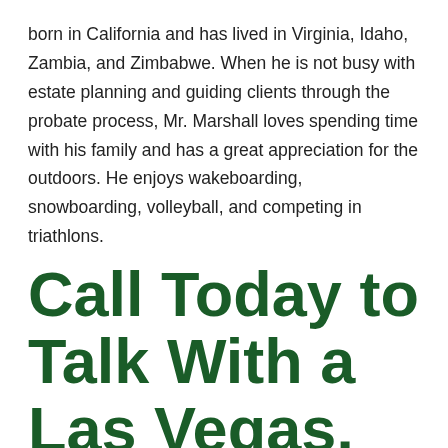born in California and has lived in Virginia, Idaho, Zambia, and Zimbabwe. When he is not busy with estate planning and guiding clients through the probate process, Mr. Marshall loves spending time with his family and has a great appreciation for the outdoors. He enjoys wakeboarding, snowboarding, volleyball, and competing in triathlons.
Call Today to Talk With a Las Vegas, NV Estate Planning